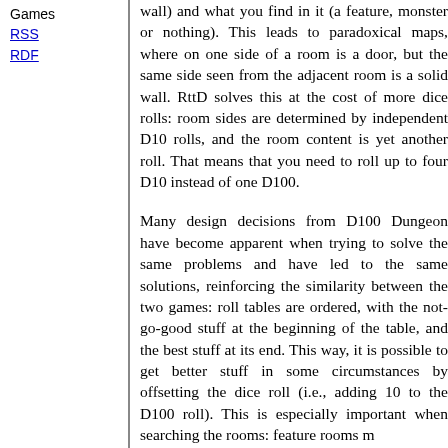Games
RSS
RDF
wall) and what you find in it (a feature, monster or nothing). This leads to paradoxical maps, where on one side of a room is a door, but the same side seen from the adjacent room is a solid wall. RttD solves this at the cost of more dice rolls: room sides are determined by independent D10 rolls, and the room content is yet another roll. That means that you need to roll up to four D10 instead of one D100.
Many design decisions from D100 Dungeon have become apparent when trying to solve the same problems and have led to the same solutions, reinforcing the similarity between the two games: roll tables are ordered, with the not-go-good stuff at the beginning of the table, and the best stuff at its end. This way, it is possible to get better stuff in some circumstances by offsetting the dice roll (i.e., adding 10 to the D100 roll). This is especially important when searching the rooms: feature rooms m